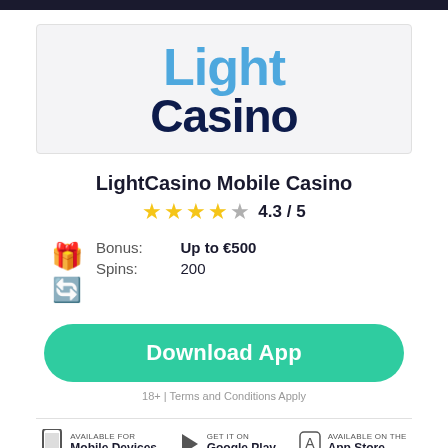[Figure (logo): Light Casino logo — 'Light' in blue, 'Casino' in dark navy, on a light gray background box]
LightCasino Mobile Casino
4.3 / 5
Bonus: Up to €500
Spins: 200
Download App
18+ | Terms and Conditions Apply
Available for Mobile Devices  |  GET IT ON Google Play  |  Available on the App Store